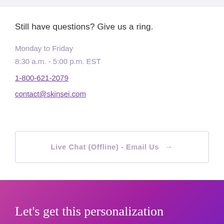Still have questions? Give us a ring.
Monday to Friday
8:30 a.m. - 5:00 p.m. EST
1-800-621-2079
contact@skinsei.com
Live Chat (Offline) - Email Us →
Let's get this personalization